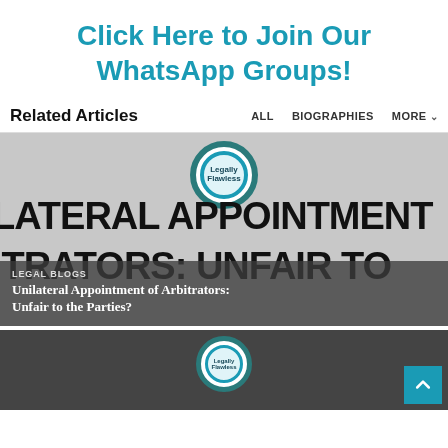Click Here to Join Our WhatsApp Groups!
Related Articles
ALL   BIOGRAPHIES   MORE
[Figure (screenshot): Article card image showing circular logo of Legally Flawless (a legal blog) with text 'LATERAL APPOINTMENT' and 'ITRATORS: UNFAIR TO' visible in large black bold text on grey background, with overlay showing 'LEGAL BLOGS' category tag and article title 'Unilateral Appointment of Arbitrators: Unfair to the Parties?']
[Figure (screenshot): Second article card image showing circular logo on dark background, partially visible, with a teal scroll-to-top button in bottom right corner]